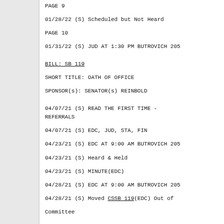PAGE 9
01/28/22 (S) Scheduled but Not Heard
PAGE 10
01/31/22 (S) JUD AT 1:30 PM BUTROVICH 205
BILL: SB 119
SHORT TITLE: OATH OF OFFICE
SPONSOR(s): SENATOR(s) REINBOLD
04/07/21 (S) READ THE FIRST TIME - REFERRALS
04/07/21 (S) EDC, JUD, STA, FIN
04/23/21 (S) EDC AT 9:00 AM BUTROVICH 205
04/23/21 (S) Heard & Held
04/23/21 (S) MINUTE(EDC)
04/28/21 (S) EDC AT 9:00 AM BUTROVICH 205
04/28/21 (S) Moved CSSB 119(EDC) Out of Committee